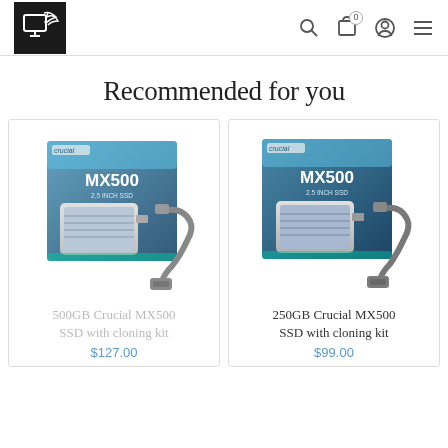[Figure (logo): Black square logo with white palm tree and display/monitor icon]
Recommended for you
[Figure (photo): Crucial MX500 SSD box with USB cloning cable adapter]
500GB Crucial MX500 SSD with cloning kit
$127.00
[Figure (photo): Crucial MX500 SSD box with USB cloning cable adapter]
250GB Crucial MX500 SSD with cloning kit
$99.00